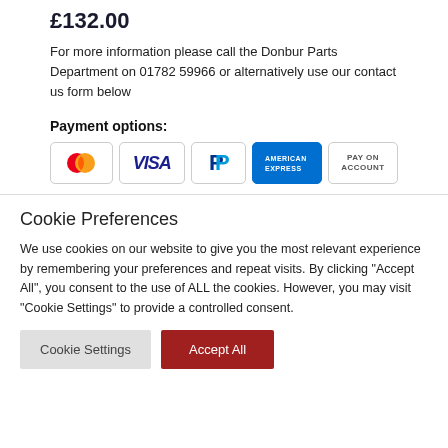£132.00
For more information please call the Donbur Parts Department on 01782 59966 or alternatively use our contact us form below
Payment options:
[Figure (other): Payment method icons: Mastercard, VISA, PayPal, American Express, Pay on Account]
Cookie Preferences
We use cookies on our website to give you the most relevant experience by remembering your preferences and repeat visits. By clicking "Accept All", you consent to the use of ALL the cookies. However, you may visit "Cookie Settings" to provide a controlled consent.
Cookie Settings | Accept All